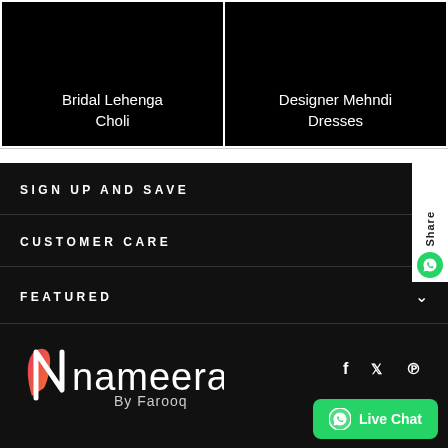[Figure (screenshot): Two product category cards side by side on black backgrounds. Left card: 'Bridal Lehenga Choli'. Right card: 'Designer Mehndi Dresses'.]
SIGN UP AND SAVE
CUSTOMER CARE
FEATURED
[Figure (logo): Nameera By Farooq logo with pink/red stylized N and white text, alongside social icons for Facebook, Twitter, Pinterest, and a green WhatsApp Live Chat button.]